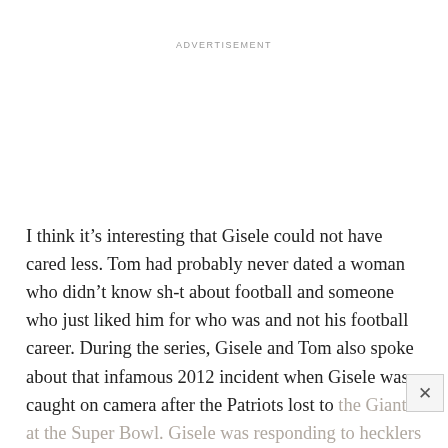ADVERTISEMENT
I think it’s interesting that Gisele could not have cared less. Tom had probably never dated a woman who didn’t know sh-t about football and someone who just liked him for who was and not his football career. During the series, Gisele and Tom also spoke about that infamous 2012 incident when Gisele was caught on camera after the Patriots lost to the Giants at the Super Bowl. Gisele was responding to hecklers and she said: “My